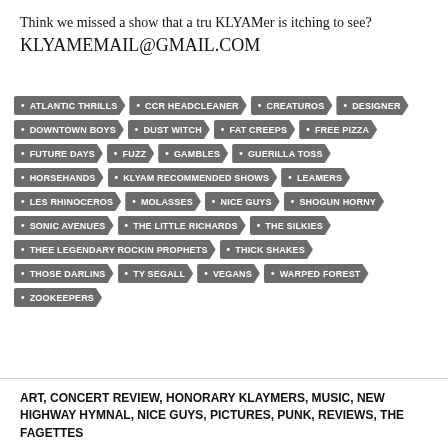Think we missed a show that a tru KLYAMer is itching to see? KLYAMEMAIL@GMAIL.COM
ATLANTIC THRILLS
CCR HEADCLEANER
CREATUROS
DESIGNER
DOWNTOWN BOYS
DUST WITCH
FAT CREEPS
FREE PIZZA
FUTURE DAYS
FUZZ
GAMBLES
GUERILLA TOSS
HORSEHANDS
KLYAM RECOMMENDED SHOWS
LEAMERS
LES RHINOCEROS
MOLASSES
NICE GUYS
SHOGUN HORNY
SONIC AVENUES
THE LITTLE RICHARDS
THE SILKIES
THEE LEGENDARY ROCKIN PROPHETS
THICK SHAKES
THOSE DARLINS
TY SEGALL
VEGANS
WARPED FOREST
ZOOKEEPERS
ART, CONCERT REVIEW, HONORARY KLAYMERS, MUSIC, NEW HIGHWAY HYMNAL, NICE GUYS, PICTURES, PUNK, REVIEWS, THE FAGETTES